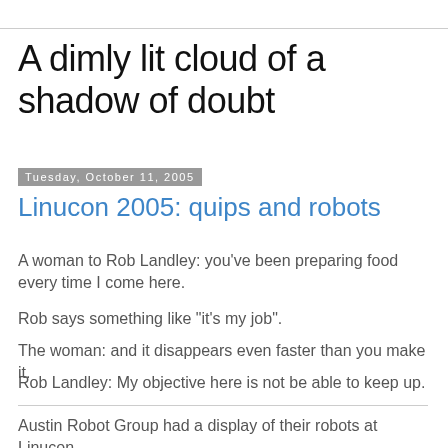A dimly lit cloud of a shadow of doubt
Tuesday, October 11, 2005
Linucon 2005: quips and robots
A woman to Rob Landley: you've been preparing food every time I come here.
Rob says something like "it's my job".
The woman: and it disappears even faster than you make it.
Rob Landley: My objective here is not be able to keep up.
Austin Robot Group had a display of their robots at Linucon.